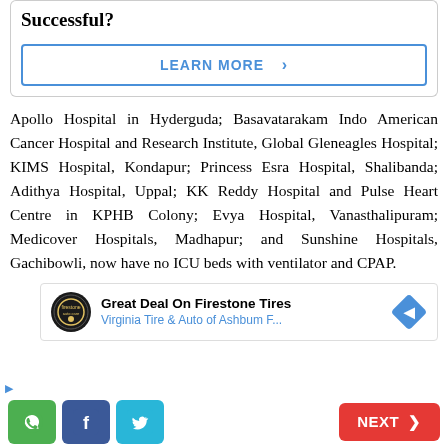Successful?
LEARN MORE ›
Apollo Hospital in Hyderguda; Basavatarakam Indo American Cancer Hospital and Research Institute, Global Gleneagles Hospital; KIMS Hospital, Kondapur; Princess Esra Hospital, Shalibanda; Adithya Hospital, Uppal; KK Reddy Hospital and Pulse Heart Centre in KPHB Colony; Evya Hospital, Vanasthalipuram; Medicover Hospitals, Madhapur; and Sunshine Hospitals, Gachibowli, now have no ICU beds with ventilator and CPAP.
[Figure (infographic): Advertisement banner: Great Deal On Firestone Tires - Virginia Tire & Auto of Ashbum F... with logo and navigation icon]
NEXT ›